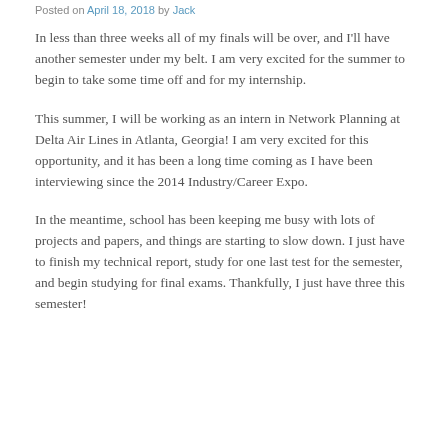Posted on April 18, 2018 by Jack
In less than three weeks all of my finals will be over, and I'll have another semester under my belt. I am very excited for the summer to begin to take some time off and for my internship.
This summer, I will be working as an intern in Network Planning at Delta Air Lines in Atlanta, Georgia! I am very excited for this opportunity, and it has been a long time coming as I have been interviewing since the 2014 Industry/Career Expo.
In the meantime, school has been keeping me busy with lots of projects and papers, and things are starting to slow down. I just have to finish my technical report, study for one last test for the semester, and begin studying for final exams. Thankfully, I just have three this semester!